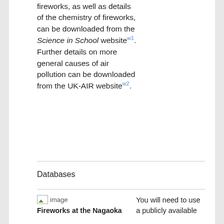fireworks, as well as details of the chemistry of fireworks, can be downloaded from the Science in School websitew1. Further details on more general causes of air pollution can be downloaded from the UK-AIR websitew2.
Databases
[Figure (photo): Small image placeholder icon for Fireworks at the Nagaoka festival]
Fireworks at the Nagaoka
You will need to use a publicly available